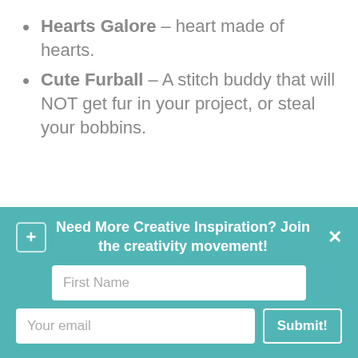Hearts Galore – heart made of hearts.
Cute Furball – A stitch buddy that will NOT get fur in your project, or steal your bobbins.
Your first name
Your email address
Need More Creative Inspiration? Join the creativity movement!
First Name
Your email
Submit!